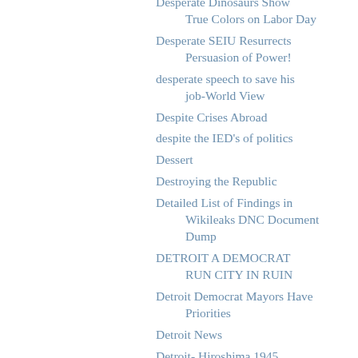Desperate Dinosaurs Show True Colors on Labor Day
Desperate SEIU Resurrects Persuasion of Power!
desperate speech to save his job-World View
Despite Crises Abroad
despite the IED's of politics
Dessert
Destroying the Republic
Detailed List of Findings in Wikileaks DNC Document Dump
DETROIT A DEMOCRAT RUN CITY IN RUIN
Detroit Democrat Mayors Have Priorities
Detroit News
Detroit- Hiroshima 1945 Detroit-Hiroshima 2012
Developed Countries